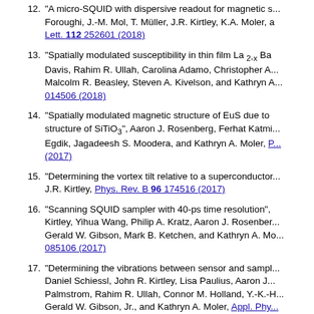12. "A micro-SQUID with dispersive readout for magnetic s... Foroughi, J.-M. Mol, T. Müller, J.R. Kirtley, K.A. Moler, a... Lett. 112 252601 (2018)
13. "Spatially modulated susceptibility in thin film La 2-x Ba... Davis, Rahim R. Ullah, Carolina Adamo, Christopher A... Malcolm R. Beasley, Steven A. Kivelson, and Kathryn A... 014506 (2018)
14. "Spatially modulated magnetic structure of EuS due to... structure of SiTiO3", Aaron J. Rosenberg, Ferhat Katmi... Egdik, Jagadeesh S. Moodera, and Kathryn A. Moler, P... (2017)
15. "Determining the vortex tilt relative to a superconducto... J.R. Kirtley, Phys. Rev. B 96 174516 (2017)
16. "Scanning SQUID sampler with 40-ps time resolution",... Kirtley, Yihua Wang, Philip A. Kratz, Aaron J. Rosenber... Gerald W. Gibson, Mark B. Ketchen, and Kathryn A. Mo... 085106 (2017)
17. "Determining the vibrations between sensor and sampl... Daniel Schiessl, John R. Kirtley, Lisa Paulius, Aaron J... Palmstrom, Rahim R. Ullah, Connor M. Holland, Y.-K.-H... Gerald W. Gibson, Jr., and Kathryn A. Moler, Appl. Phy...